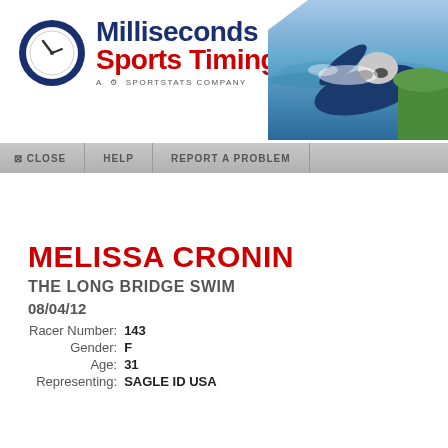[Figure (logo): Milliseconds Sports Timing logo with clock icon and tagline 'A Sportstats Company']
[Figure (photo): Swimmer in open water with goggles and swim cap, competitive swimming photo]
CLOSE  /  HELP  /  REPORT A PROBLEM
MELISSA CRONIN
THE LONG BRIDGE SWIM
08/04/12
| Racer Number: | 143 |
| Gender: | F |
| Age: | 31 |
| Representing: | SAGLE ID USA |